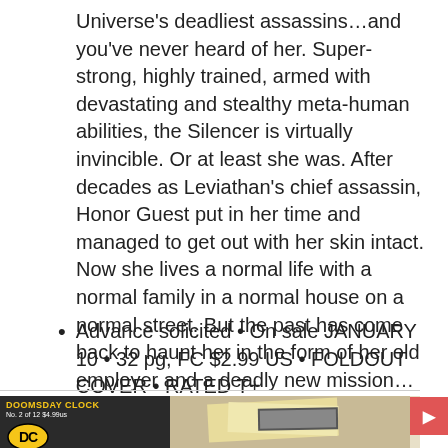Universe's deadliest assassins…and you've never heard of her. Super-strong, highly trained, armed with devastating and stealthy meta-human abilities, the Silencer is virtually invincible. Or at least she was. After decades as Leviathan's chief assassin, Honor Guest put in her time and managed to get out with her skin intact. Now she lives a normal life with a normal family in a normal house on a normal street. But the past has come back to haunt her in the form of her old employer and a deadly new mission…and Talia Al Ghul won't take no for an answer.
Advance solicited • On sale JANUARY 10 • 32 pg, FC $2.99 US • FOLDOUT COVER • RATED T+
[Figure (other): Bottom portion showing DC Comics Doomsday Clock No. 2 of 12 $4.99us advertisement with DC logo in yellow on dark background, and paper/envelope imagery]